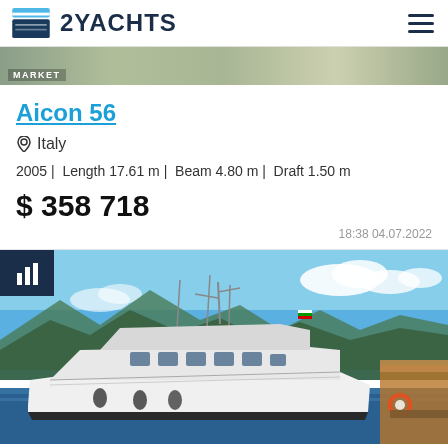2YACHTS
[Figure (photo): Partial aerial/overhead background image with MARKET label overlay]
Aicon 56
Italy
2005 | Length 17.61 m | Beam 4.80 m | Draft 1.50 m
$ 358 718
18:38 04.07.2022
[Figure (photo): Photograph of the Aicon 56 yacht moored in a marina in Italy, white motor yacht with blue sky and mountains in background]